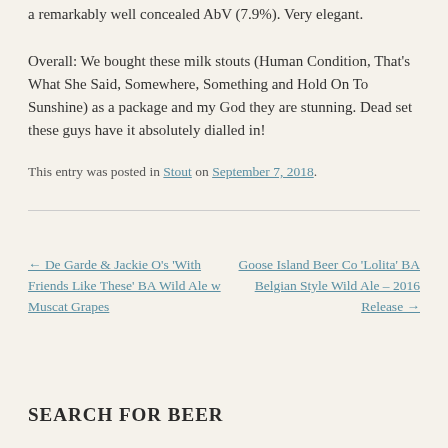a remarkably well concealed AbV (7.9%). Very elegant.
Overall: We bought these milk stouts (Human Condition, That's What She Said, Somewhere, Something and Hold On To Sunshine) as a package and my God they are stunning. Dead set these guys have it absolutely dialled in!
This entry was posted in Stout on September 7, 2018.
← De Garde & Jackie O's 'With Friends Like These' BA Wild Ale w Muscat Grapes
Goose Island Beer Co 'Lolita' BA Belgian Style Wild Ale – 2016 Release →
SEARCH FOR BEER